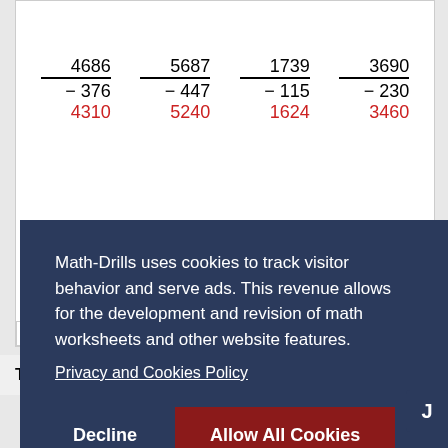| 4686 | 5687 | 1739 | 3690 |
| − 376 | − 447 | − 115 | − 230 |
| 4310 | 5240 | 1624 | 3460 |
Math-Drills.com
The 4-Digit Minus 3-Digit Subtraction with NO...
Math-Drills uses cookies to track visitor behavior and serve ads. This revenue allows for the development and revision of math worksheets and other website features.
Privacy and Cookies Policy
Decline
Allow All Cookies